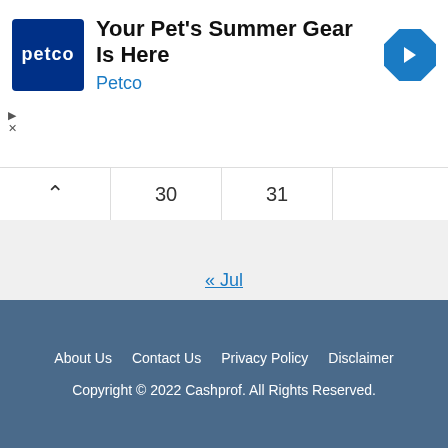[Figure (other): Petco advertisement banner with logo, headline 'Your Pet's Summer Gear Is Here', brand name 'Petco', and a blue diamond arrow icon]
|  | 30 | 31 |  |
« Jul
About Us   Contact Us   Privacy Policy   Disclaimer
Copyright © 2022 Cashprof. All Rights Reserved.